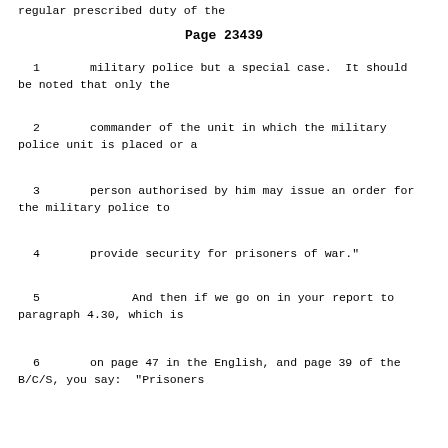regular prescribed duty of the
Page 23439
1      military police but a special case.  It should be noted that only the
2      commander of the unit in which the military police unit is placed or a
3      person authorised by him may issue an order for the military police to
4      provide security for prisoners of war."
5               And then if we go on in your report to paragraph 4.30, which is
6      on page 47 in the English, and page 39 of the B/C/S, you say:  "Prisoners